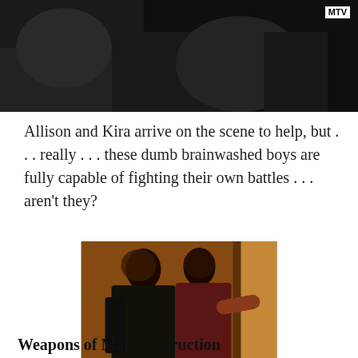[Figure (photo): Dark screenshot from MTV show, showing a blurry scene with MTV logo in top right corner]
Allison and Kira arrive on the scene to help, but . . . really . . . these dumb brainwashed boys are fully capable of fighting their own battles . . . aren't they?
[Figure (photo): Two young women in dark clothing standing back-to-back in a warmly lit scene, one reaching out with arm extended]
“We aren’t being the least bit helpful.  But at least we look super fashionable while we do it . . .”
Weapons of Mass Destruction